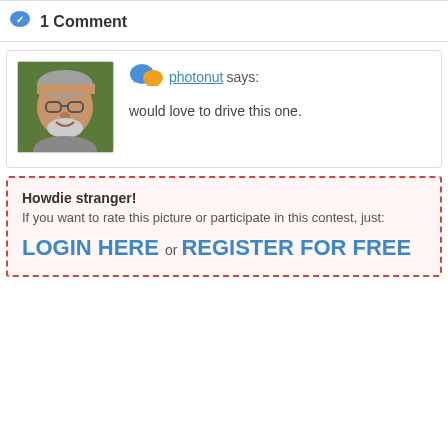1 Comment
[Figure (photo): Avatar photo of a smiling older man with glasses and gray beard]
photonut says:
would love to drive this one.
Howdie stranger!
If you want to rate this picture or participate in this contest, just:
LOGIN HERE or REGISTER FOR FREE